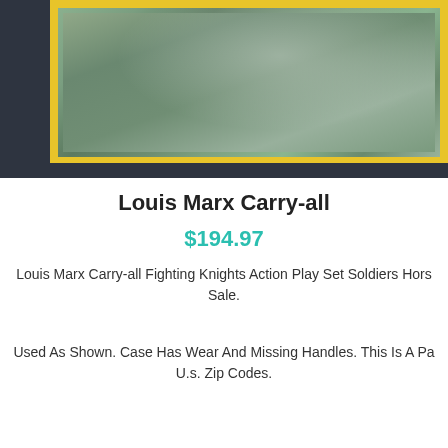[Figure (photo): Louis Marx Carry-all toy set - photo showing the tin carry case with yellow border on dark background, partially cropped]
Louis Marx Carry-all
$194.97
Louis Marx Carry-all Fighting Knights Action Play Set Soldiers Hors Sale.
Used As Shown. Case Has Wear And Missing Handles. This Is A Pa U.s. Zip Codes.